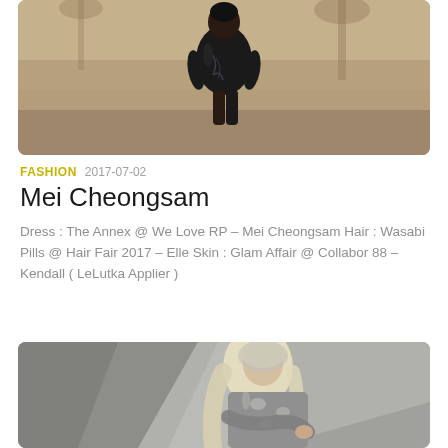[Figure (illustration): Digital illustration of a woman in a black cheongsam dress with dragon embroidery, posed against a warm beige background with palm trees.]
FASHION  2017-07-02
Mei Cheongsam
Dress : The Annex @ We Love RP – Mei Cheongsam Hair : Wasabi Pills @ Hair Fair 2017 – Elle Skin : Glam Affair @ Collabor 88 – Kendall ( LeLutka Applier )
[Figure (illustration): Digital illustration of a woman with long blonde hair wearing a grey shirt, posed against angular geometric grey surfaces.]